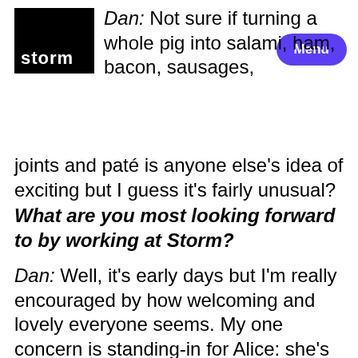[Figure (logo): Storm logo — black rectangle with white text 'storm']
Dan: Not sure if turning a whole pig into salami, ham, bacon, sausages, joints and paté is anyone else's idea of exciting but I guess it's fairly unusual?
What are you most looking forward to by working at Storm?
Dan: Well, it's early days but I'm really encouraged by how welcoming and lovely everyone seems. My one concern is standing-in for Alice: she's leaving me some big boots to fill!